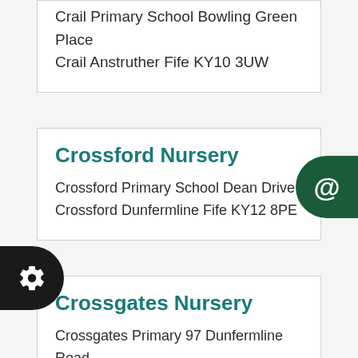Crail Primary School Bowling Green Place Crail Anstruther Fife KY10 3UW
Crossford Nursery
Crossford Primary School Dean Drive Crossford Dunfermline Fife KY12 8PE
Crossgates Nursery
Crossgates Primary 97 Dunfermline Road Crossgates Cowdenbeath Fife KY4 8AR
Dalgety Bay Nursery